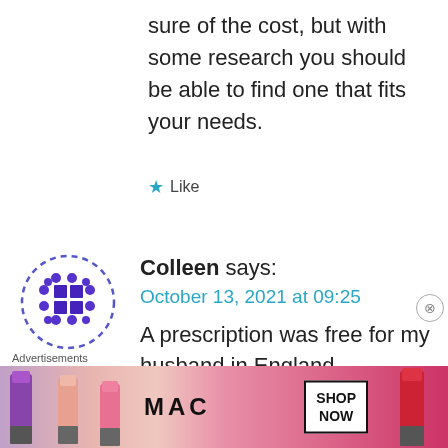sure of the cost, but with some research you should be able to find one that fits your needs.
★ Like
Colleen says:
October 13, 2021 at 09:25
A prescription was free for my husband in England
[Figure (illustration): Purple/blue avatar icon with grid dot pattern for user Colleen]
[Figure (illustration): MAC Cosmetics advertisement banner showing lipsticks with SHOP NOW button]